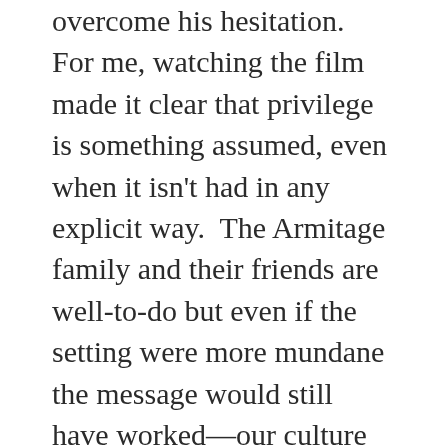overcome his hesitation.  For me, watching the film made it clear that privilege is something assumed, even when it isn't had in any explicit way.  The Armitage family and their friends are well-to-do but even if the setting were more mundane the message would still have worked—our culture imposes and reimposes its message of white superiority in subtle ways that the camera captures